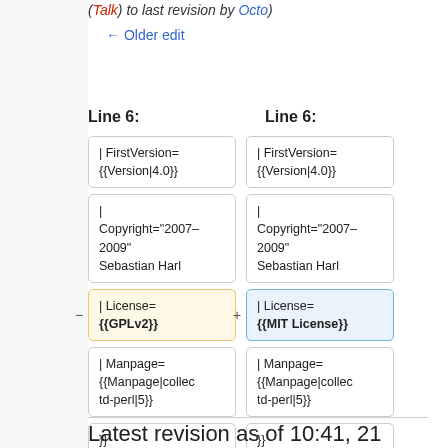(Talk) to last revision by Octo)
← Older edit
Line 6:    Line 6:
| Old | New |
| --- | --- |
| | FirstVersion= {{Version|4.0}} | | FirstVersion= {{Version|4.0}} |
| |
Copyright="2007–2009"
Sebastian Harl | |
Copyright="2007–2009"
Sebastian Harl |
| | License= {{GPLv2}} | | License= {{MIT License}} |
| | Manpage= {{Manpage|collectd-perl|5}} | | Manpage= {{Manpage|collectd-perl|5}} |
| }} | }} |
Latest revision as of 10:41, 21